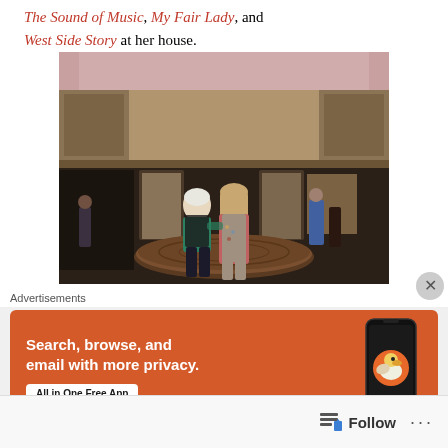The Sound of Music, My Fair Lady, and West Side Story at her house.
[Figure (photo): Two women posing together in the lobby of a theater. The lobby has a decorative ceiling, balcony levels, and a large round wooden platform on the floor. One woman is shorter with white hair wearing a green top and black vest; the other is taller with long hair wearing a floral dress and pink coat.]
Advertisements
Search, browse, and email with more privacy. All in One Free App